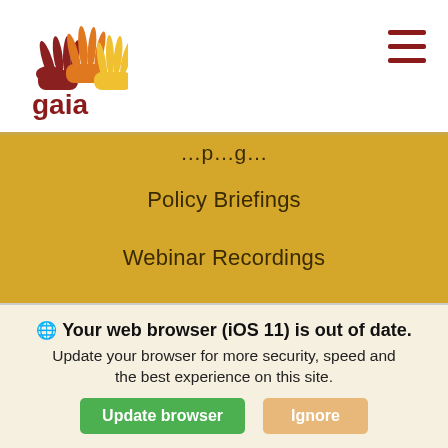[Figure (logo): GAIA organization logo with colorful hand silhouettes and the word 'gaia' in dark red below]
Policy Briefings
Webinar Recordings
GET INVOLVED
Events
Join GAIA
Donate
Get Our Updates
Your web browser (iOS 11) is out of date. Update your browser for more security, speed and the best experience on this site.